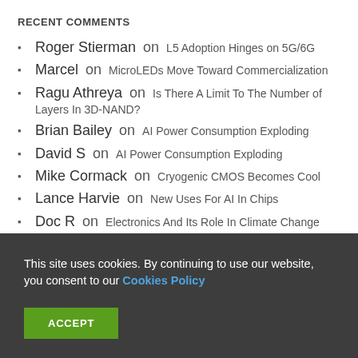RECENT COMMENTS
Roger Stierman on L5 Adoption Hinges on 5G/6G
Marcel on MicroLEDs Move Toward Commercialization
Ragu Athreya on Is There A Limit To The Number of Layers In 3D-NAND?
Brian Bailey on AI Power Consumption Exploding
David S on AI Power Consumption Exploding
Mike Cormack on Cryogenic CMOS Becomes Cool
Lance Harvie on New Uses For AI In Chips
Doc R on Electronics And Its Role In Climate Change
Magdy Abadir on Is Standardization Required For
This site uses cookies. By continuing to use our website, you consent to our Cookies Policy
ACCEPT